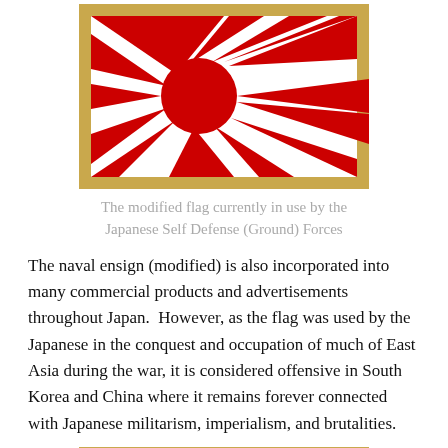[Figure (illustration): The modified rising sun flag of the Japanese Self Defense Ground Forces — red and white rays emanating from a central red disc, with gold/yellow border, on a white background.]
The modified flag currently in use by the Japanese Self Defense (Ground) Forces
The naval ensign (modified) is also incorporated into many commercial products and advertisements throughout Japan.  However, as the flag was used by the Japanese in the conquest and occupation of much of East Asia during the war, it is considered offensive in South Korea and China where it remains forever connected with Japanese militarism, imperialism, and brutalities.
[Figure (photo): Partial view of a second image at the bottom of the page, partially cropped.]